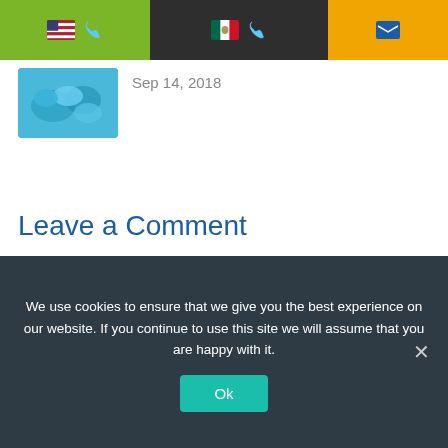[Figure (screenshot): Website header bar with three sections: green section with US flag emoji and phone icon, dark section with Mexico flag emoji and phone icon, orange section with email icon]
[Figure (photo): Thumbnail photo of a surgical scene with blue medical gloves]
Sep 14, 2018
Leave a Comment
Comment...
We use cookies to ensure that we give you the best experience on our website. If you continue to use this site we will assume that you are happy with it.